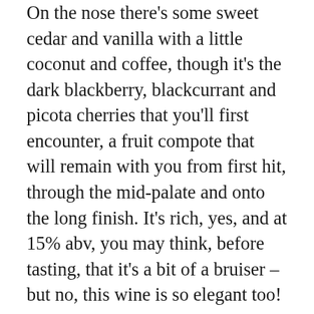On the nose there's some sweet cedar and vanilla with a little coconut and coffee, though it's the dark blackberry, blackcurrant and picota cherries that you'll first encounter, a fruit compote that will remain with you from first hit, through the mid-palate and onto the long finish. It's rich, yes, and at 15% abv, you may think, before tasting, that it's a bit of a bruiser – but no, this wine is so elegant too!
At 40€ it is, for most of us anyway, a special occasion wine (think Christmas this year and/or the next two years – the wine I tasted was 2009 and drinking perfectly, yet with time on its side too), but real value for money!
Which brings me to the ridiculously...